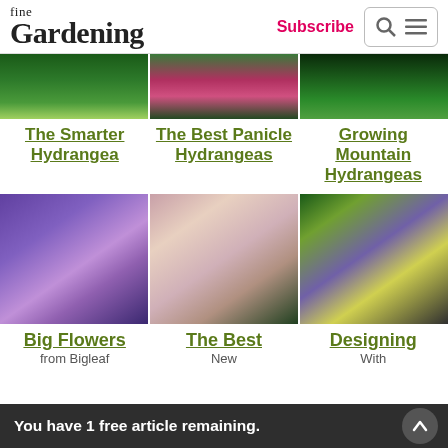fine Gardening — Subscribe
[Figure (photo): Three thumbnail photos of hydrangea plants and garden scenes at the top of the page]
The Smarter Hydrangea
The Best Panicle Hydrangeas
Growing Mountain Hydrangeas
[Figure (photo): Three thumbnail photos: blue/purple bigleaf hydrangeas, pink panicle hydrangeas, formal garden with mixed plantings]
Big Flowers from Bigleaf
The Best New
Designing With Hydrangeas
You have 1 free article remaining.